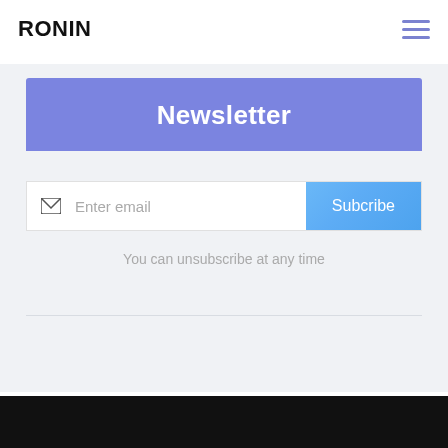RONIN
Newsletter
Enter email
Subcribe
You can unsubscribe at any time